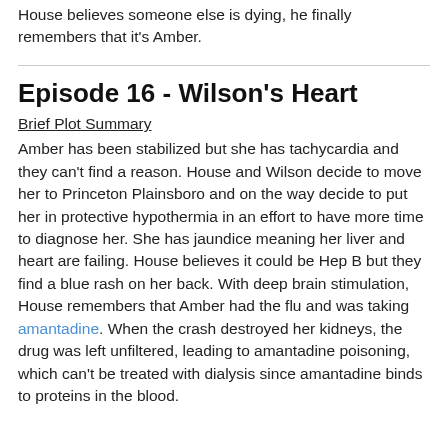House believes someone else is dying, he finally remembers that it's Amber.
Episode 16 - Wilson's Heart
Brief Plot Summary
Amber has been stabilized but she has tachycardia and they can't find a reason. House and Wilson decide to move her to Princeton Plainsboro and on the way decide to put her in protective hypothermia in an effort to have more time to diagnose her. She has jaundice meaning her liver and heart are failing. House believes it could be Hep B but they find a blue rash on her back. With deep brain stimulation, House remembers that Amber had the flu and was taking amantadine. When the crash destroyed her kidneys, the drug was left unfiltered, leading to amantadine poisoning, which can't be treated with dialysis since amantadine binds to proteins in the blood.